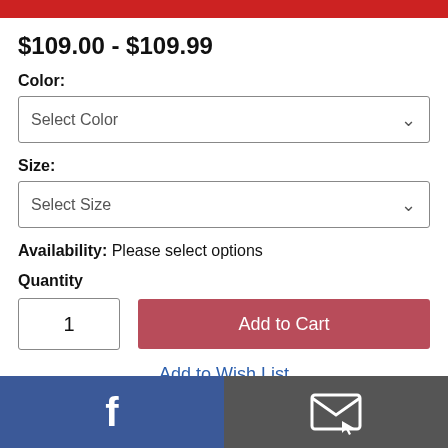$109.00 - $109.99
Color:
Select Color
Size:
Select Size
Availability: Please select options
Quantity
1
Add to Cart
Add to Wish List
[Figure (illustration): Footer bar with Facebook icon (f) on blue background on left, email/envelope icon on dark gray background on right]